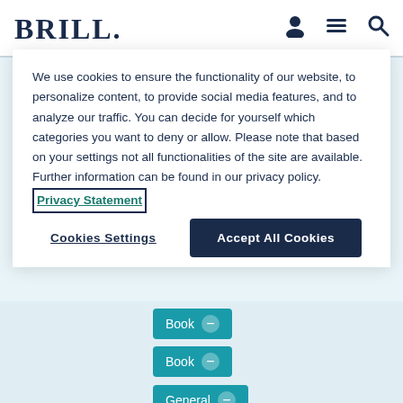BRILL
We use cookies to ensure the functionality of our website, to personalize content, to provide social media features, and to analyze our traffic. You can decide for yourself which categories you want to deny or allow. Please note that based on your settings not all functionalities of the site are available. Further information can be found in our privacy policy. Privacy Statement
Cookies Settings
Accept All Cookies
Book
Book
General
Search level: All
Status (Books): Published